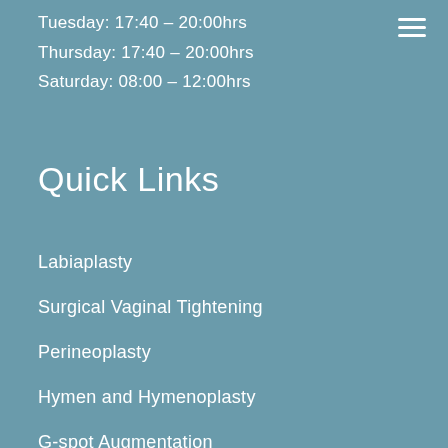Tuesday: 17:40 – 20:00hrs
Thursday: 17:40 – 20:00hrs
Saturday: 08:00 – 12:00hrs
Quick Links
Labiaplasty
Surgical Vaginal Tightening
Perineoplasty
Hymen and Hymenoplasty
G-spot Augmentation